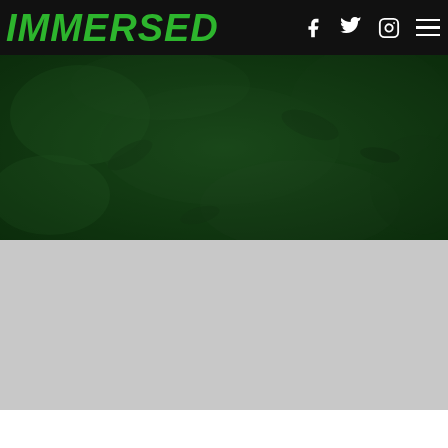IMMERSED
[Figure (photo): Dark green blurred background hero image, appearing to show foliage or nature scene with very low visibility, dark green tones throughout]
[Figure (other): Light gray content section area below hero image]
[Figure (other): White content section area at bottom of page]